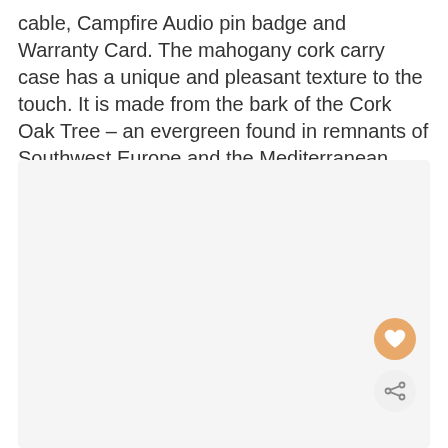cable, Campfire Audio pin badge and Warranty Card. The mahogany cork carry case has a unique and pleasant texture to the touch. It is made from the bark of the Cork Oak Tree – an evergreen found in remnants of Southwest Europe and the Mediterranean.
[Figure (photo): Large light gray rectangular area representing a product image placeholder, with a heart (favorite) button and a share button overlaid in the bottom-right corner.]